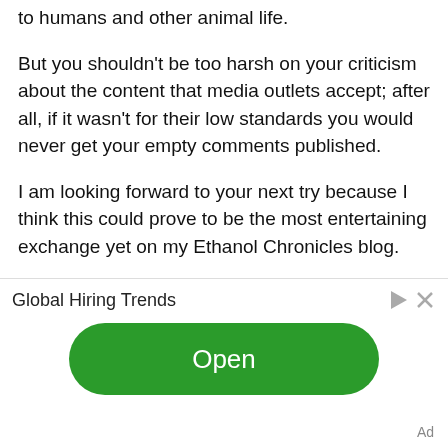to humans and other animal life.
But you shouldn't be too harsh on your criticism about the content that media outlets accept; after all, if it wasn't for their low standards you would never get your empty comments published.
I am looking forward to your next try because I think this could prove to be the most entertaining exchange yet on my Ethanol Chronicles blog.
August 9, 2015
Posted by COMPETITION ACCESSORIES:
What I want to talk about is ethanol fuels and what it's doing to motorcycles. First off, pure ethanol is hygroscopic; it attracts water, to the point that it will pull it out of the air. Ethanol and gasoline will mix, but ethanol, gasoline and
[Figure (screenshot): Advertisement banner with 'Global Hiring Trends' text, play and close icons, a green 'Open' button, and an 'Ad' label.]